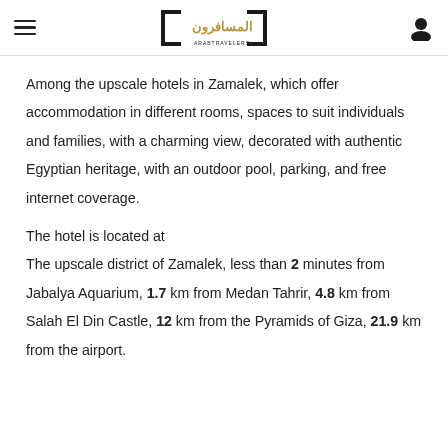ArabTravelers logo with hamburger menu and user icon
Among the upscale hotels in Zamalek, which offer accommodation in different rooms, spaces to suit individuals and families, with a charming view, decorated with authentic Egyptian heritage, with an outdoor pool, parking, and free internet coverage.
The hotel is located at
The upscale district of Zamalek, less than 2 minutes from Jabalya Aquarium, 1.7 km from Medan Tahrir, 4.8 km from Salah El Din Castle, 12 km from the Pyramids of Giza, 21.9 km from the airport.